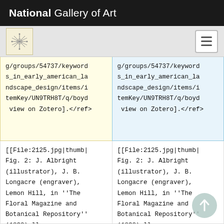National Gallery of Art
g/groups/54737/keywords_in_early_american_landscape_design/items/itemKey/UN9TRH8T/q/boyd view on Zotero].</ref>
g/groups/54737/keywords_in_early_american_landscape_design/items/itemKey/UN9TRH8T/q/boyd view on Zotero].</ref>
[[File:2125.jpg|thumb|Fig. 2: J. Albright (illustrator), J. B. Longacre (engraver), Lemon Hill, in ''The Floral Magazine and Botanical Repository'' (1832).]]
[[File:2125.jpg|thumb|Fig. 2: J. Albright (illustrator), J. B. Longacre (engraver), Lemon Hill, in ''The Floral Magazine and Botanical Repository'' (1832).]]